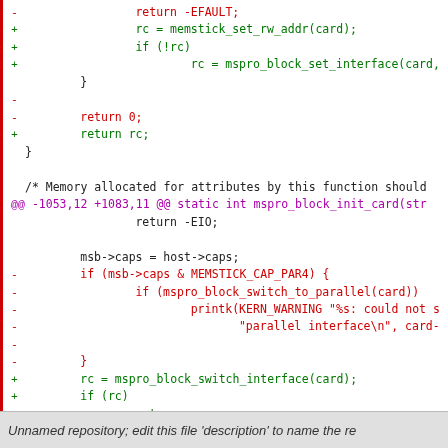[Figure (screenshot): A code diff screenshot showing changes to a C source file (memstick/mspro_block driver). Lines prefixed with '-' are shown in red (removed), lines with '+' in green (added), and diff hunk headers in magenta. The code includes function calls like memstick_set_rw_addr, mspro_block_set_interface, mspro_block_switch_interface, mspro_block_wait_for_ced, and msleep. A footer bar at the bottom reads 'Unnamed repository; edit this file description to name the re']
Unnamed repository; edit this file 'description' to name the re